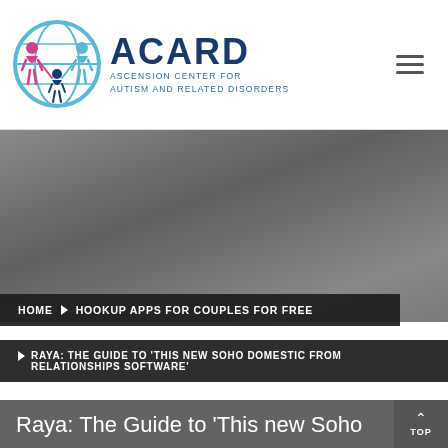[Figure (logo): ACARD – Ascension Center for Autism and Related Disorders logo with circular globe and figures icon]
[Figure (illustration): Gray hero/banner area with gradient background]
HOME › HOOKUP APPS FOR COUPLES FOR FREE
▶ RAYA: THE GUIDE TO 'THIS NEW SOHO DOMESTIC FROM RELATIONSHIPS SOFTWARE'
Raya: The Guide to 'This new Soho